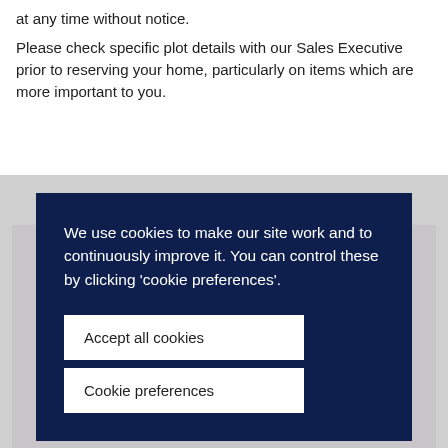at any time without notice.
Please check specific plot details with our Sales Executive prior to reserving your home, particularly on items which are more important to you.
We use cookies to make our site work and to continuously improve it. You can control these by clicking 'cookie preferences'.
Accept all cookies
Cookie preferences